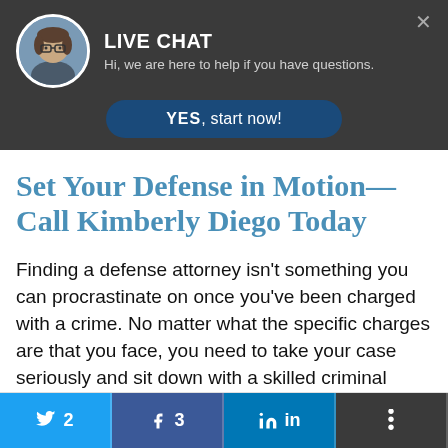[Figure (screenshot): Live chat banner with avatar photo of a woman with glasses, dark background, LIVE CHAT heading, subtitle text, and YES start now button]
Set Your Defense in Motion—Call Kimberly Diego Today
Finding a defense attorney isn't something you can procrastinate on once you've been charged with a crime. No matter what the specific charges are that you face, you need to take your case seriously and sit down with a skilled criminal lawyer as soon as possible. Kimberly Diego will
[Figure (screenshot): Social sharing bar with Twitter (2), Facebook (3), LinkedIn, and more buttons]